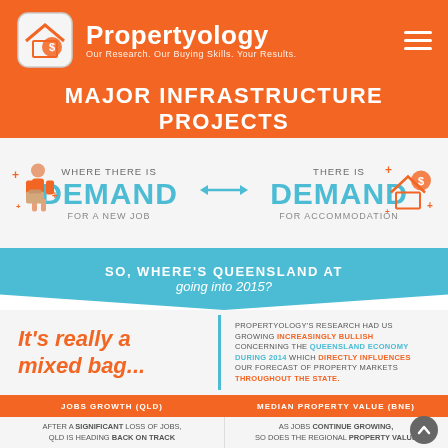Propertyology — Our Research. Our Buying Skills. Your Results.
MAJOR INFRASTRUCTURE PROJECTS
WHERE THERE IS DEMAND FOR A NEW JOB ↔ THERE IS DEMAND FOR ACCOMMODATION
SO, WHERE'S QUEENSLAND AT going into 2015?
It's really a mixed bag...
PROPERTYOLOGY'S RESEARCH HAD US GROWING INCREASINGLY BULLISH CONCERNING THE QUEENSLAND ECONOMY DURING 2014 WHICH DIRECTLY INFLUENCES OUR FORECAST OF PROPERTY MARKETS THROUGHOUT THE STATE.
JOBS GROWTH (QLD)
MEDIAN PROPERTY VALUE (BNE)
AFTER A SIGNIFICANT LOSS OF JOBS, QLD IS HEADING BACK ON TRACK
AS JOBS CONTINUE GROWING, SO DOES THE REGIONAL PROPERTY VALUE